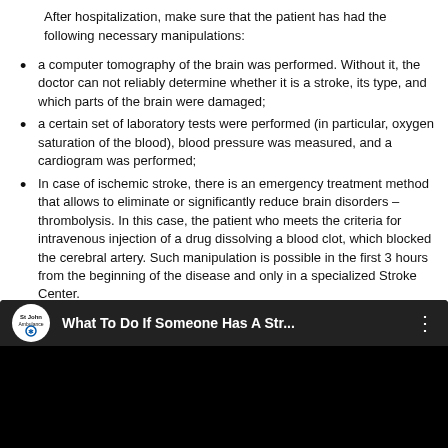After hospitalization, make sure that the patient has had the following necessary manipulations:
a computer tomography of the brain was performed. Without it, the doctor can not reliably determine whether it is a stroke, its type, and which parts of the brain were damaged;
a certain set of laboratory tests were performed (in particular, oxygen saturation of the blood), blood pressure was measured, and a cardiogram was performed;
In case of ischemic stroke, there is an emergency treatment method that allows to eliminate or significantly reduce brain disorders – thrombolysis. In this case, the patient who meets the criteria for intravenous injection of a drug dissolving a blood clot, which blocked the cerebral artery. Such manipulation is possible in the first 3 hours from the beginning of the disease and only in a specialized Stroke Center.
[Figure (screenshot): YouTube video thumbnail with St John Ambulance logo and title 'What To Do If Someone Has A Str...' on dark background]